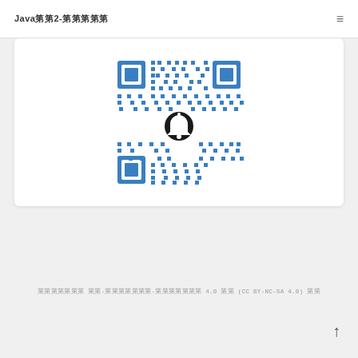Java第2-第第第第
[Figure (other): QR code with a notification bell icon in the center, blue and white pattern]
第第第第第第第 第第-第第第第第第第-第第第第第第第 4.0 第第 (CC BY-NC-SA 4.0) 第第